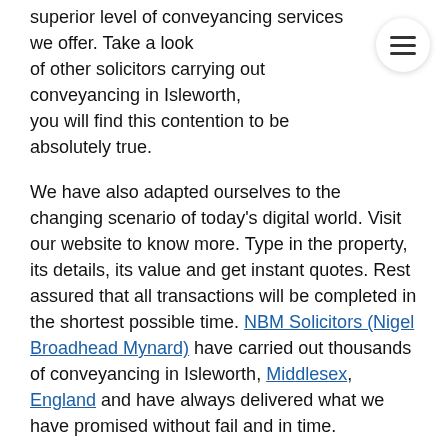Importantly, our charges are very low when compared to the superior level of conveyancing services we offer. Take a look at other solicitors carrying out conveyancing in Isleworth, and you will find this contention to be absolutely true.
We have also adapted ourselves to the changing scenario of today's digital world. Visit our website to know more. Type in the property, its details, its value and get instant quotes. Rest assured that all transactions will be completed in the shortest possible time. NBM Solicitors (Nigel Broadhead Mynard) have carried out thousands of conveyancing in Isleworth, Middlesex, England and have always delivered what we have promised without fail and in time.
While you can approach us through your estate agent, our comprehensive conveyancing services can be availed direct by the public too. Our team of experts will take you through the requirements for conveyancing and will ensure that the property you purchase has clear and marketable title. The